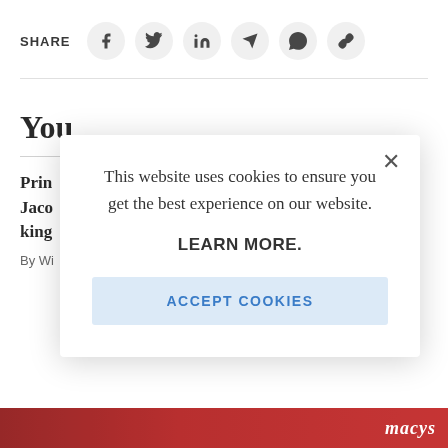SHARE
[Figure (screenshot): Social share icon buttons: Facebook, Twitter, LinkedIn, Telegram, WhatsApp, Link]
You
Prin
Jaco
king
By Wi
[Figure (screenshot): Cookie consent modal dialog with text: This website uses cookies to ensure you get the best experience on our website. LEARN MORE. ACCEPT COOKIES button.]